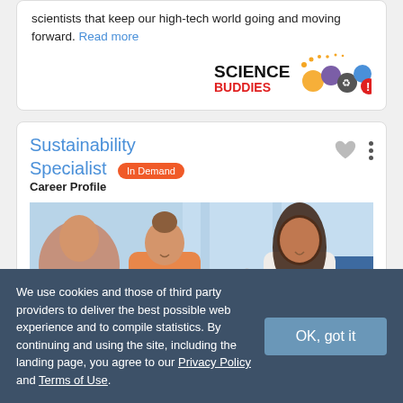scientists that keep our high-tech world going and moving forward. Read more
[Figure (logo): Science Buddies logo with colorful molecular icons]
Sustainability Specialist In Demand
Career Profile
[Figure (photo): Two women in a meeting room, one in an orange top and one with long dark hair, smiling and talking]
We use cookies and those of third party providers to deliver the best possible web experience and to compile statistics. By continuing and using the site, including the landing page, you agree to our Privacy Policy and Terms of Use.